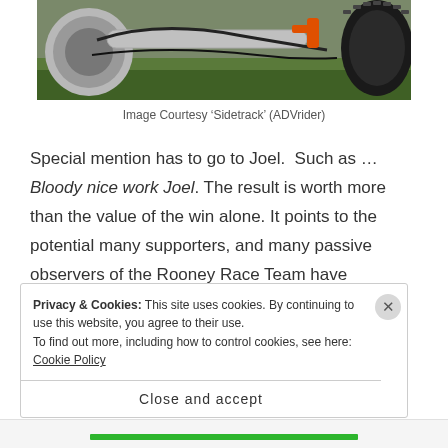[Figure (photo): Close-up photo of a motorcycle engine/exhaust and rear tire on grass, partially cropped at the top of the page]
Image Courtesy ‘Sidetrack’ (ADVrider)
Special mention has to go to Joel.  Such as … Bloody nice work Joel. The result is worth more than the value of the win alone. It points to the potential many supporters, and many passive observers of the Rooney Race Team have envisioned. And, importantly, it fuels the desire to keep racing, to push it harder, faster, finer,
Privacy & Cookies: This site uses cookies. By continuing to use this website, you agree to their use.
To find out more, including how to control cookies, see here: Cookie Policy
Close and accept